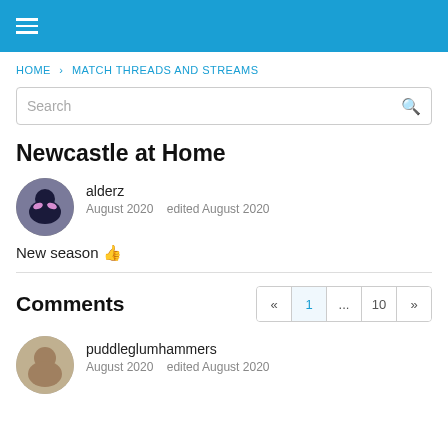≡ (navigation menu)
HOME › MATCH THREADS AND STREAMS
Search
Newcastle at Home
alderz
August 2020   edited August 2020
New season 👍
Comments
« 1 ... 10 »
puddleglumhammers
August 2020   edited August 2020